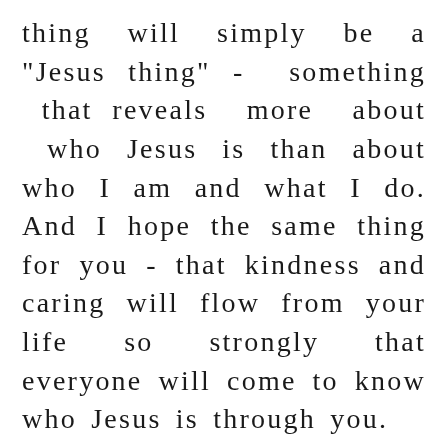thing will simply be a "Jesus thing" - something that reveals more about who Jesus is than about who I am and what I do. And I hope the same thing for you - that kindness and caring will flow from your life so strongly that everyone will come to know who Jesus is through you.
May it be so! Blessings on